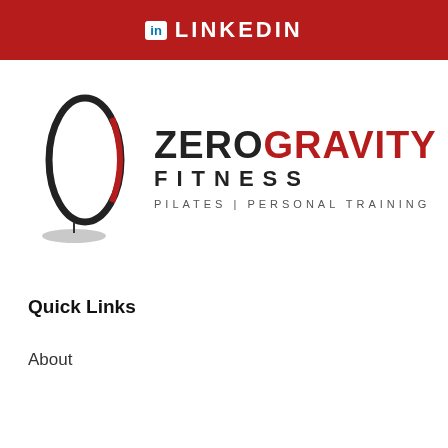in LINKEDIN
[Figure (logo): Zero Gravity Fitness logo — an oval/ellipse shape in red and black on the left, with 'ZERO' in dark gray and 'GRAVITY' in red bold uppercase beside it, 'FITNESS' in spaced dark gray letters below, and 'PILATES | PERSONAL TRAINING' in small spaced gray letters beneath that.]
Quick Links
About